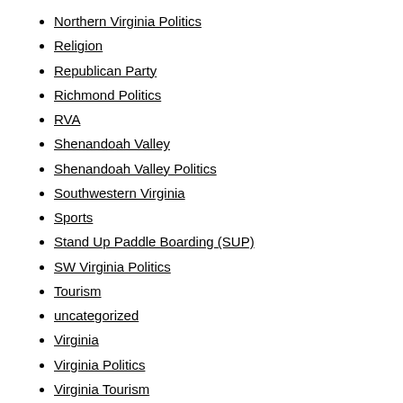Northern Virginia Politics
Religion
Republican Party
Richmond Politics
RVA
Shenandoah Valley
Shenandoah Valley Politics
Southwestern Virginia
Sports
Stand Up Paddle Boarding (SUP)
SW Virginia Politics
Tourism
uncategorized
Virginia
Virginia Politics
Virginia Tourism
Weather
BLOGS I FOLLOW
WordPress.com News